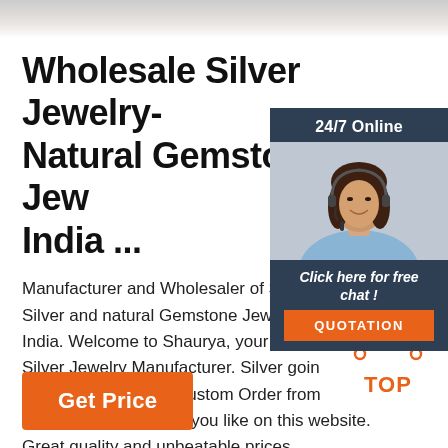[Figure (photo): Top banner showing blurred product/person image in light gray tones]
Wholesale Silver Jewelry-Natural Gemstone Jewelry India ...
Manufacturer and Wholesaler of Solid 9… Silver and natural Gemstone Jewelry from India. Welcome to Shaurya, your favorite Silver Jewelry Manufacturer. Silver going so does our prices.. Custom Order from styles and 250 stones you like on this website. Great quality and unbeatable prices.
[Figure (photo): 24/7 Online chat widget with agent photo, 'Click here for free chat!' text and QUOTATION button]
[Figure (other): TOP scroll-to-top button with orange dots icon]
Get Price